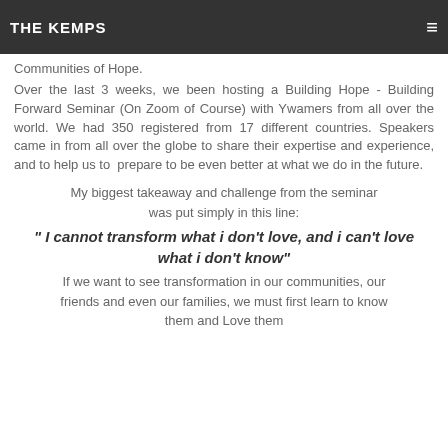THE KEMPS
Communities of Hope.
Over the last 3 weeks, we been hosting a Building Hope - Building Forward Seminar (On Zoom of Course) with Ywamers from all over the world. We had 350 registered from 17 different countries. Speakers came in from all over the globe to share their expertise and experience, and to help us to prepare to be even better at what we do in the future.
My biggest takeaway and challenge from the seminar was put simply in this line:
" I cannot transform what i don't love, and i can't love what i don't know"
If we want to see transformation in our communities, our friends and even our families, we must first learn to know them and Love them